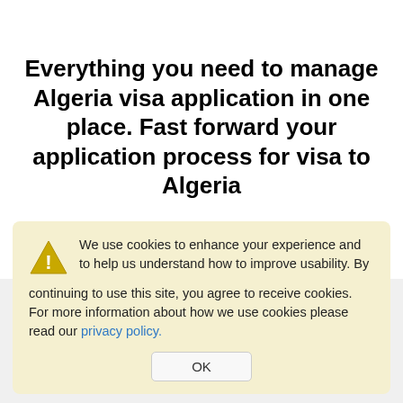Everything you need to manage Algeria visa application in one place. Fast forward your application process for visa to Algeria
We use cookies to enhance your experience and to help us understand how to improve usability. By continuing to use this site, you agree to receive cookies. For more information about how we use cookies please read our privacy policy.